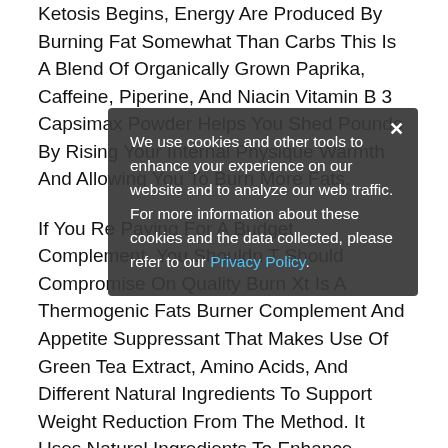Ketosis Begins, Energy Are Produced By Burning Fat Somewhat Than Carbs This Is A Blend Of Organically Grown Paprika, Caffeine, Piperine, And Niacin Vitamin B 3 Capsimax Powder Helps You Shed Pounds By Rising Your Internal Physique Warmth And Allowing You To Burn More Fats.
If You Re Paying For A Budget Complement, You Shouldn T Should Compromise On Quality Burn Xt Is A Thermogenic Fats Burner Complement And Appetite Suppressant That Makes Use Of Green Tea Extract, Amino Acids, And Different Natural Ingredients To Support Weight Reduction From The Method. It Uses Natural Ingredients To Enhance Mitochondrial Well Being While Other Weight Reduction Tablets Focus On Metabolism And Stimulants, Reignite Targets Energy On The Cellular Stage, Using Your Mitochondria To Accelerate Weight Reduction From Best
We use cookies and other tools to enhance your experience on our website and to analyze our web traffic. For more information about these cookies and the data collected, please refer to our Privacy Policy.